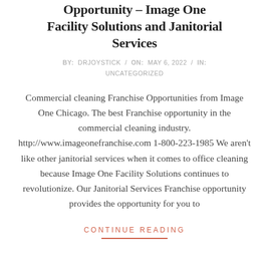Opportunity – Image One Facility Solutions and Janitorial Services
BY: DRJOYSTICK / ON: MAY 6, 2022 / IN: UNCATEGORIZED
Commercial cleaning Franchise Opportunities from Image One Chicago. The best Franchise opportunity in the commercial cleaning industry. http://www.imageonefranchise.com 1-800-223-1985 We aren't like other janitorial services when it comes to office cleaning because Image One Facility Solutions continues to revolutionize. Our Janitorial Services Franchise opportunity provides the opportunity for you to
CONTINUE READING